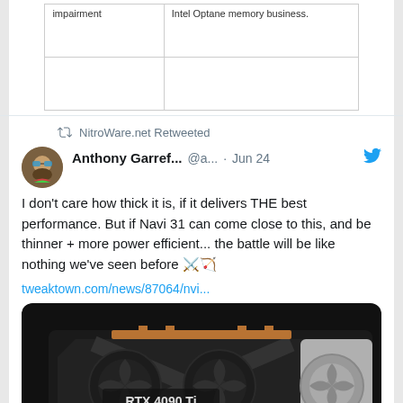| impairment | Intel Optane memory business. |
💬 10   ♡ 153
NitroWare.net Retweeted
Anthony Garref... @a... · Jun 24
I don't care how thick it is, if it delivers THE best performance. But if Navi 31 can come close to this, and be thinner + more power efficient... the battle will be like nothing we've seen before ⚔️🏹
tweaktown.com/news/87064/nvi...
[Figure (photo): Photo of an NVIDIA RTX 4090 Ti graphics card on a dark background, showing the large triple-fan cooler design with RTX 4090 Ti label]